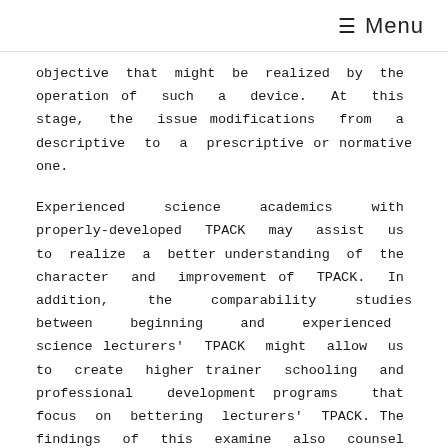≡ Menu
objective that might be realized by the operation of such a device. At this stage, the issue modifications from a descriptive to a prescriptive or normative one.
Experienced science academics with properly-developed TPACK may assist us to realize a better understanding of the character and improvement of TPACK. In addition, the comparability studies between beginning and experienced science lecturers' TPACK might allow us to create higher trainer schooling and professional development programs that focus on bettering lecturers' TPACK. The findings of this examine also counsel that academics should replicate on their classroom practices to be able to incorporate technology and